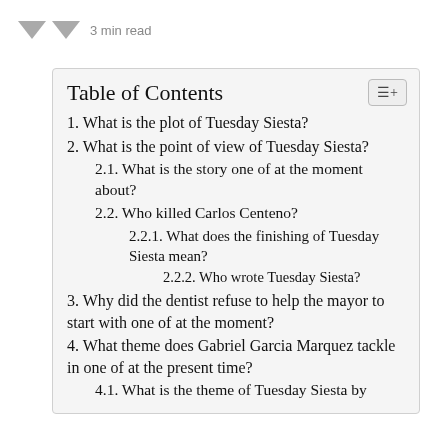3 min read
Table of Contents
1. What is the plot of Tuesday Siesta?
2. What is the point of view of Tuesday Siesta?
2.1. What is the story one of at the moment about?
2.2. Who killed Carlos Centeno?
2.2.1. What does the finishing of Tuesday Siesta mean?
2.2.2. Who wrote Tuesday Siesta?
3. Why did the dentist refuse to help the mayor to start with one of at the moment?
4. What theme does Gabriel Garcia Marquez tackle in one of at the present time?
4.1. What is the theme of Tuesday Siesta by